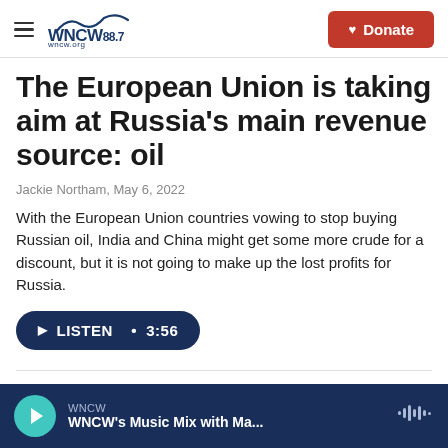WNCW 88.7 | wncw.org | Donate
The European Union is taking aim at Russia's main revenue source: oil
Jackie Northam, May 6, 2022
With the European Union countries vowing to stop buying Russian oil, India and China might get some more crude for a discount, but it is not going to make up the lost profits for Russia.
LISTEN • 3:56
WNCW — WNCW's Music Mix with Ma...